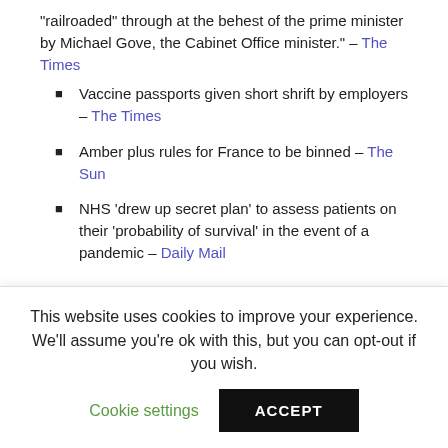“railroaded” through at the behest of the prime minister by Michael Gove, the Cabinet Office minister.” – The Times
Vaccine passports given short shrift by employers – The Times
Amber plus rules for France to be binned – The Sun
NHS ‘drew up secret plan’ to assess patients on their ‘probability of survival’ in the event of a pandemic – Daily Mail
COMMENT
Lockdown fanatics have created a poisonous
This website uses cookies to improve your experience. We’ll assume you’re ok with this, but you can opt-out if you wish.